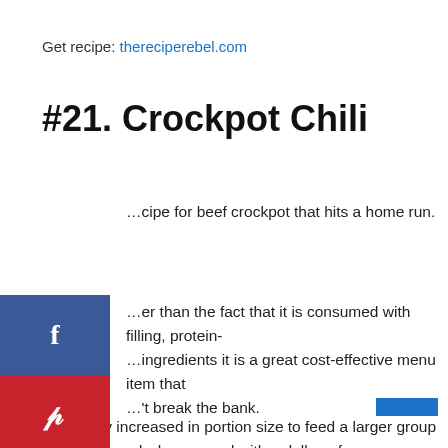Get recipe: thereciperebel.com
#21. Crockpot Chili
…cipe for beef crockpot that hits a home run.
…er than the fact that it is consumed with filling, protein-…ingredients it is a great cost-effective menu item that …'t break the bank.
It is easily increased in portion size to feed a larger group of people, and when served with a dollop of sour cream and salsa on top it leaves a good impression on your